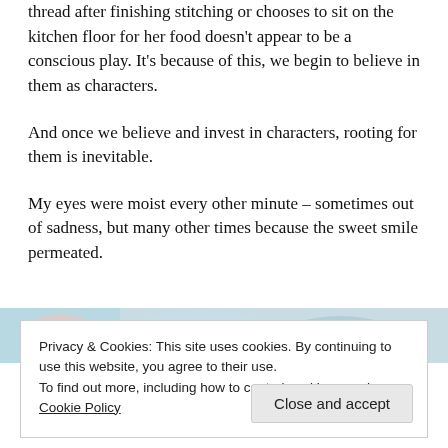thread after finishing stitching or chooses to sit on the kitchen floor for her food doesn't appear to be a conscious play. It's because of this, we begin to believe in them as characters.
And once we believe and invest in characters, rooting for them is inevitable.
My eyes were moist every other minute – sometimes out of sadness, but many other times because the sweet smile permeated.
[Figure (photo): Partial colorful image strip visible behind cookie consent banner]
Privacy & Cookies: This site uses cookies. By continuing to use this website, you agree to their use.
To find out more, including how to control cookies, see here: Cookie Policy